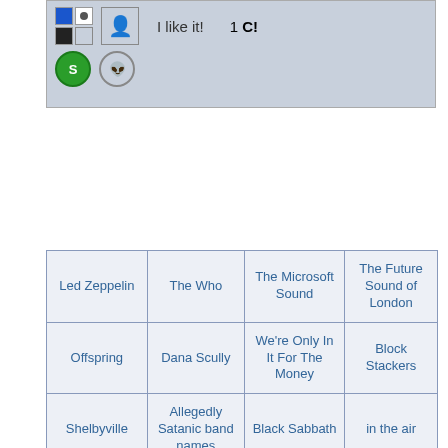[Figure (screenshot): Social sharing widget with icons, 'I like it!' text, count '1 C!']
| Led Zeppelin | The Who | The Microsoft Sound | The Future Sound of London |
| Offspring | Dana Scully | We're Only In It For The Money | Block Stackers |
| Shelbyville | Allegedly Satanic band names | Black Sabbath | in the air |
| The X-Files | The Simpsons | The baby sees a man worth saving | In-A-Gadda-Da-Vida |
| Living Colour | Irestone | NWOBHM | Iron Maiden |
|  |  |  |  |